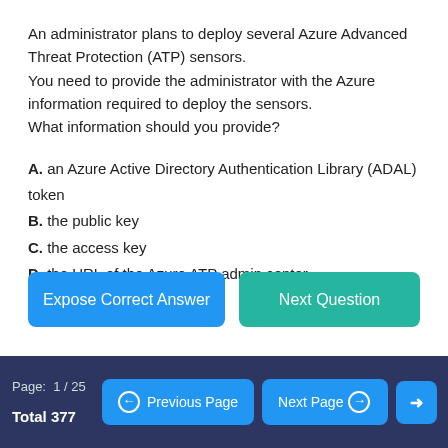An administrator plans to deploy several Azure Advanced Threat Protection (ATP) sensors. You need to provide the administrator with the Azure information required to deploy the sensors. What information should you provide?
A. an Azure Active Directory Authentication Library (ADAL) token
B. the public key
C. the access key
D. the URL of the Azure ATP admin center
Page: 1 / 25   Total 377   Previous Page   Next Page